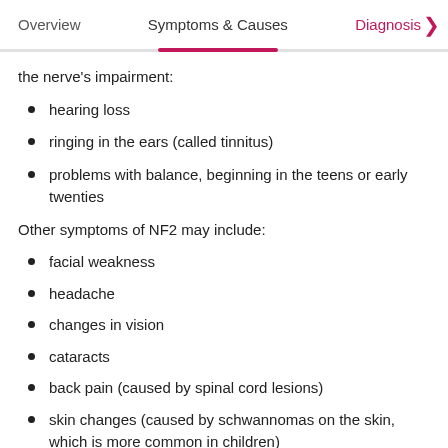Overview  Symptoms & Causes  Diagnosis
the nerve's impairment:
hearing loss
ringing in the ears (called tinnitus)
problems with balance, beginning in the teens or early twenties
Other symptoms of NF2 may include:
facial weakness
headache
changes in vision
cataracts
back pain (caused by spinal cord lesions)
skin changes (caused by schwannomas on the skin, which is more common in children)